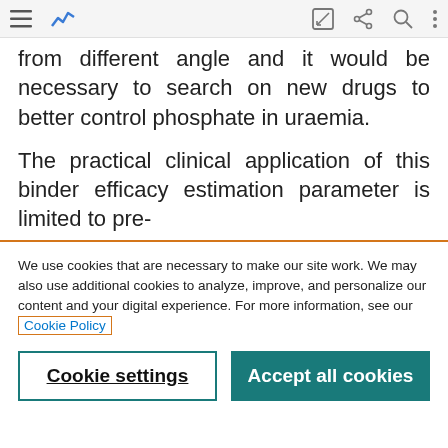[Figure (screenshot): Top navigation toolbar with hamburger menu, analytics icon, edit icon, share icon, search icon, and more options icon]
from different angle and it would be necessary to search on new drugs to better control phosphate in uraemia.
The practical clinical application of this binder efficacy estimation parameter is limited to pre-
We use cookies that are necessary to make our site work. We may also use additional cookies to analyze, improve, and personalize our content and your digital experience. For more information, see our Cookie Policy
Cookie settings
Accept all cookies